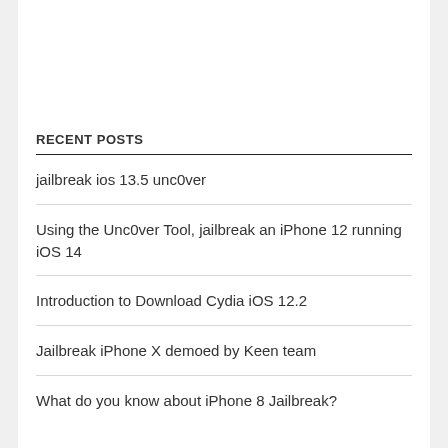RECENT POSTS
jailbreak ios 13.5 unc0ver
Using the Unc0ver Tool, jailbreak an iPhone 12 running iOS 14
Introduction to Download Cydia iOS 12.2
Jailbreak iPhone X demoed by Keen team
What do you know about iPhone 8 Jailbreak?